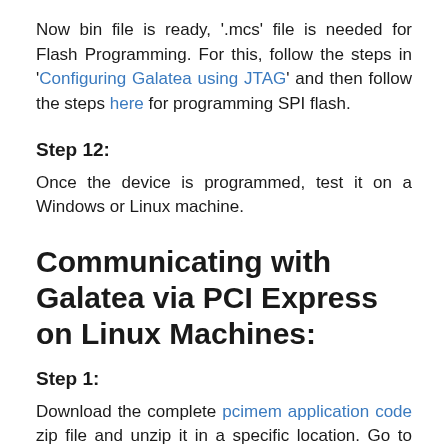Now bin file is ready, '.mcs' file is needed for Flash Programming. For this, follow the steps in 'Configuring Galatea using JTAG' and then follow the steps here for programming SPI flash.
Step 12:
Once the device is programmed, test it on a Windows or Linux machine.
Communicating with Galatea via PCI Express on Linux Machines:
Step 1:
Download the complete pcimem application code zip file and unzip it in a specific location. Go to the command line terminal and check the PCIe base address by using the command.